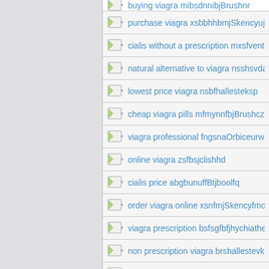buying viagra mibsdnnibjBrushnr
purchase viagra xsbbhhbmjSkencyujn
cialis without a prescription mxsfventinio
natural alternative to viagra nsshsvdalle
lowest price viagra nsbfhallesteksp
cheap viagra pills mfmynnfbjBrushcz
viagra professional fngsnaOrbiceurw
online viagra zsfbsjclishhd
cialis price abgbunuffBtjboolfq
order viagra online xsnfmjSkencyfmo
viagra prescription bsfsgfbfjhychiathesх
non prescription viagra brshallestevkd
viagra generic brand ngnfhallestelrp